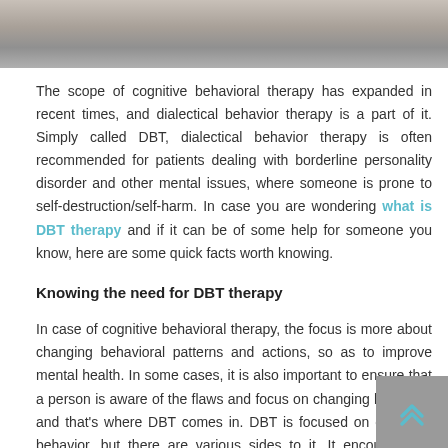[Figure (photo): A photo strip at the top of the page showing a person on a bridge or walkway, partially visible, in muted/grayscale tones.]
The scope of cognitive behavioral therapy has expanded in recent times, and dialectical behavior therapy is a part of it. Simply called DBT, dialectical behavior therapy is often recommended for patients dealing with borderline personality disorder and other mental issues, where someone is prone to self-destruction/self-harm. In case you are wondering what is DBT therapy and if it can be of some help for someone you know, here are some quick facts worth knowing.
Knowing the need for DBT therapy
In case of cognitive behavioral therapy, the focus is more about changing behavioral patterns and actions, so as to improve mental health. In some cases, it is also important to ensure that a person is aware of the flaws and focus on changing his ways, and that's where DBT comes in. DBT is focused on changing behavior, but there are various sides to it. It encourages a patient to be mindful of his actions, thoughts, so that he can actually regulate emotions. It is also about increasing threshold for tolerating distress and having better relationships with others. As compared to cognitive